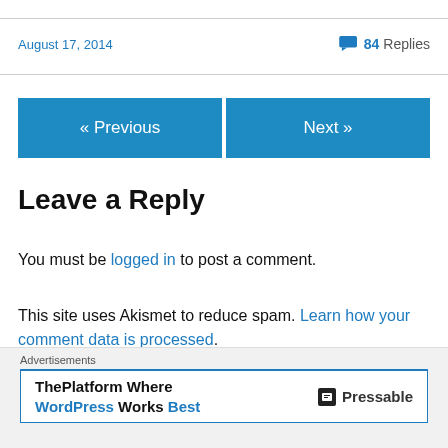August 17, 2014
84 Replies
« Previous
Next »
Leave a Reply
You must be logged in to post a comment.
This site uses Akismet to reduce spam. Learn how your comment data is processed.
Advertisements
ThePlatform Where WordPress Works Best   Pressable